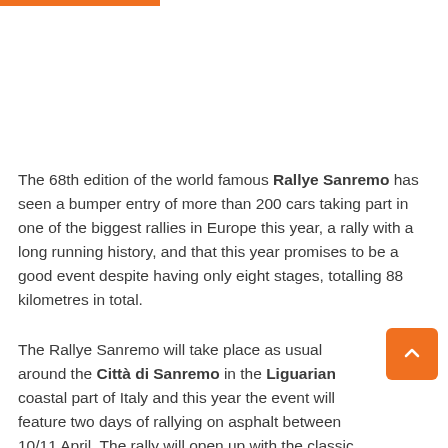The 68th edition of the world famous Rallye Sanremo has seen a bumper entry of more than 200 cars taking part in one of the biggest rallies in Europe this year, a rally with a long running history, and that this year promises to be a good event despite having only eight stages, totalling 88 kilometres in total.
The Rallye Sanremo will take place as usual around the Città di Sanremo in the Liguarian coastal part of Italy and this year the event will feature two days of rallying on asphalt between 10/11 April. The rally will open up with the classic two